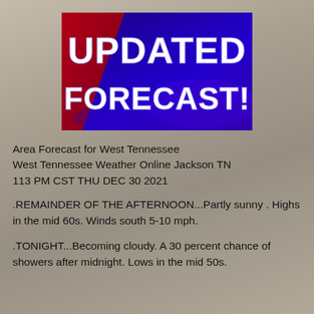[Figure (illustration): A graphic with a blue and red background displaying the text 'UPDATED FORECAST!' in large bold white letters.]
Area Forecast for West Tennessee
West Tennessee Weather Online Jackson TN
113 PM CST THU DEC 30 2021
.REMAINDER OF THE AFTERNOON...Partly sunny . Highs in the mid 60s. Winds south 5-10 mph.
.TONIGHT...Becoming cloudy. A 30 percent chance of showers after midnight. Lows in the mid 50s.